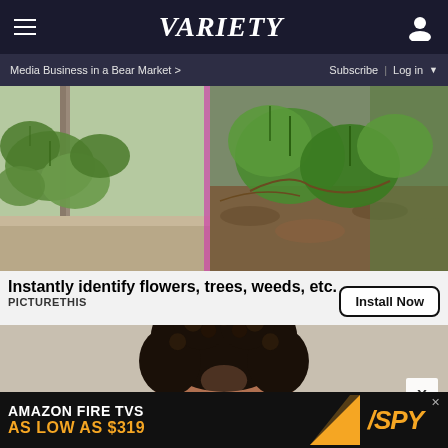Variety — Media Business in a Bear Market > | Subscribe | Log in
[Figure (photo): Advertisement photo showing plants and weeds for PictureThis app: left side showing green leafy plants against a fence/wall, right side showing larger heart-shaped leaves with mulch background]
Instantly identify flowers, trees, weeds, etc.
PICTURETHIS
Install Now
[Figure (photo): Partial photo of a young Black woman with short natural curly hair, cropped at the forehead and nose level, against a light textured background]
X
AMAZON FIRE TVS AS LOW AS $319